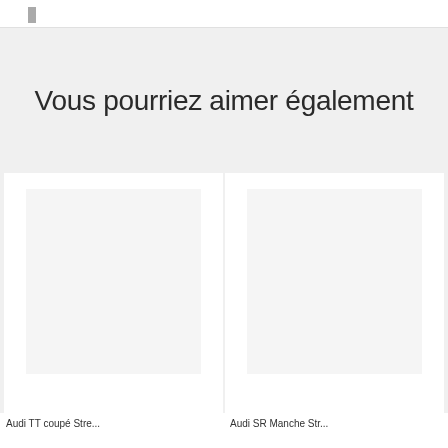Vous pourriez aimer également
[Figure (illustration): Left card with white background and light gray image placeholder area]
[Figure (illustration): Right card with white background and light gray image placeholder area]
Audi TT...